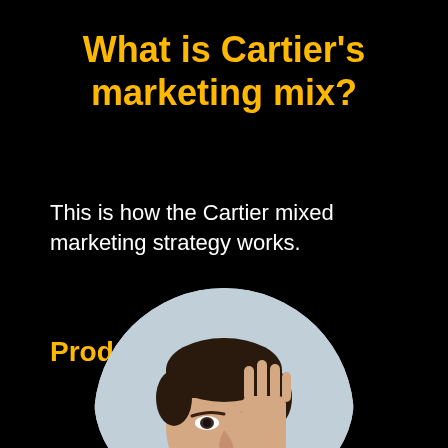What is Cartier's marketing mix?
This is how the Cartier mixed marketing strategy works.
Product Strategy
[Figure (photo): Circular cropped photo of a person with dark hair, hand raised near face, wearing a blue top, on a light gray background. Only the top portion (head and hand) is visible as the image is cropped at the bottom of the page.]